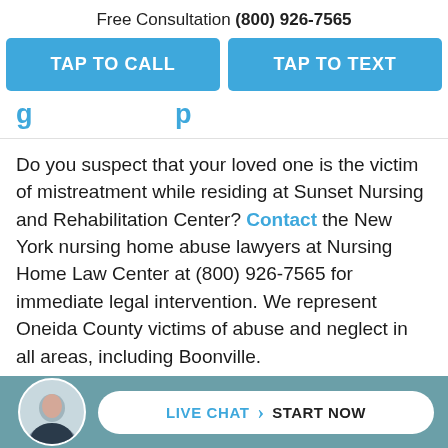Free Consultation (800) 926-7565
TAP TO CALL
TAP TO TEXT
g…p
Do you suspect that your loved one is the victim of mistreatment while residing at Sunset Nursing and Rehabilitation Center? Contact the New York nursing home abuse lawyers at Nursing Home Law Center at (800) 926-7565 for immediate legal intervention. We represent Oneida County victims of abuse and neglect in all areas, including Boonville.
Discuss your case with us now through an initial co…u.
LIVE CHAT  START NOW